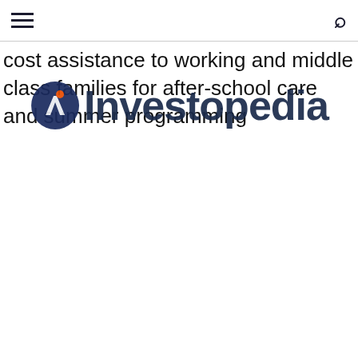[hamburger menu] [search icon]
cost assistance to working and middle class families for after-school care and summer programming
[Figure (logo): Investopedia logo — circular icon with stylized 'i' arrow and orange dot, followed by the word 'Investopedia' in dark navy bold text]